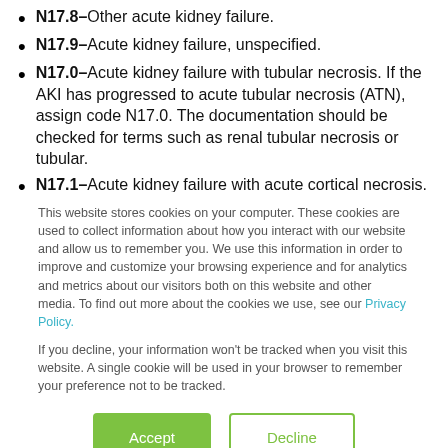N17.8–Other acute kidney failure.
N17.9–Acute kidney failure, unspecified.
N17.0–Acute kidney failure with tubular necrosis. If the AKI has progressed to acute tubular necrosis (ATN), assign code N17.0. The documentation should be checked for terms such as renal tubular necrosis or tubular.
N17.1–Acute kidney failure with acute cortical necrosis.
This website stores cookies on your computer. These cookies are used to collect information about how you interact with our website and allow us to remember you. We use this information in order to improve and customize your browsing experience and for analytics and metrics about our visitors both on this website and other media. To find out more about the cookies we use, see our Privacy Policy.
If you decline, your information won't be tracked when you visit this website. A single cookie will be used in your browser to remember your preference not to be tracked.